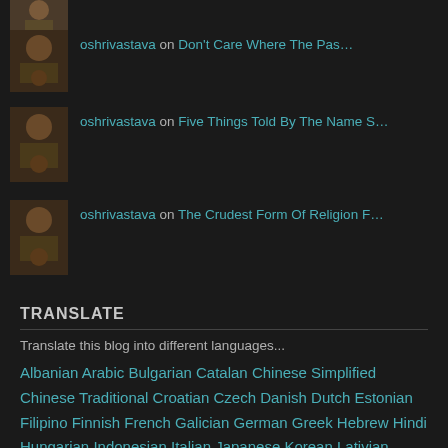[Figure (photo): Avatar thumbnail of oshrivastava user (person with dog)]
oshrivastava on Don't Care Where The Pas…
[Figure (photo): Avatar thumbnail of oshrivastava user (person with dog)]
oshrivastava on Five Things Told By The Name S…
[Figure (photo): Avatar thumbnail of oshrivastava user (person with dog)]
oshrivastava on The Crudest Form Of Religion F…
TRANSLATE
Translate this blog into different languages...
Albanian Arabic Bulgarian Catalan Chinese Simplified Chinese Traditional Croatian Czech Danish Dutch Estonian Filipino Finnish French Galician German Greek Hebrew Hindi Hungarian Indonesian Italian Japanese Korean Lativian Lithuanian Maltese Norwegian Polish Portuguese Romanian Russian Serbian Slovak Slovenian Spanish Swedish Thai Turkish Ukrainian